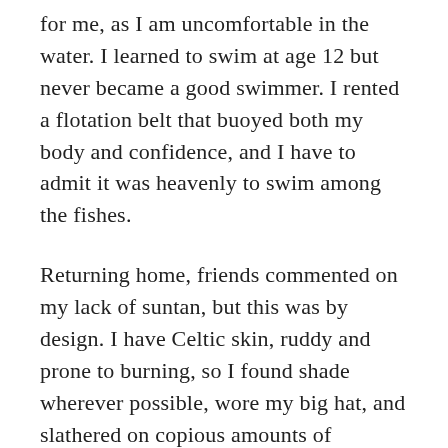for me, as I am uncomfortable in the water. I learned to swim at age 12 but never became a good swimmer. I rented a flotation belt that buoyed both my body and confidence, and I have to admit it was heavenly to swim among the fishes.
Returning home, friends commented on my lack of suntan, but this was by design. I have Celtic skin, ruddy and prone to burning, so I found shade wherever possible, wore my big hat, and slathered on copious amounts of sunblock.
One of the biggest challenges with travel these days is, I happen to live in a place that's a tough act to follow. After two weeks, we were